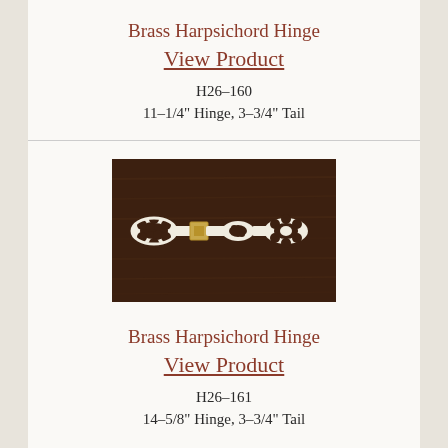Brass Harpsichord Hinge
View Product
H26-160
11-1/4" Hinge, 3-3/4" Tail
[Figure (photo): Photograph of a brass harpsichord hinge displayed on a dark walnut wood background. The hinge has ornate decorative cutout patterns and is shown laid flat.]
Brass Harpsichord Hinge
View Product
H26-161
14-5/8" Hinge, 3-3/4" Tail